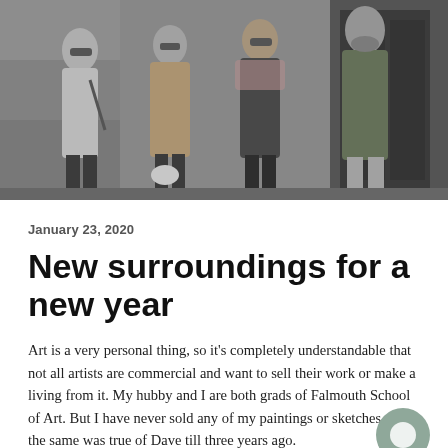[Figure (photo): Black and white photograph of four people (three women and one man) standing together outside a building with large dark doors. One person is holding a small white fluffy dog.]
January 23, 2020
New surroundings for a new year
Art is a very personal thing, so it’s completely understandable that not all artists are commercial and want to sell their work or make a living from it. My hubby and I are both grads of Falmouth School of Art. But I have never sold any of my paintings or sketches. And the same was true of Dave till three years ago.